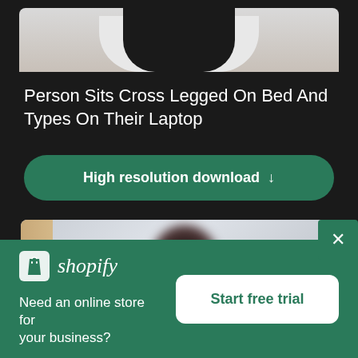[Figure (photo): Top portion of a person sitting cross-legged on a bed, wearing a dark top and white shirt underneath, photographed from chest up, partially cropped]
Person Sits Cross Legged On Bed And Types On Their Laptop
[Figure (other): Green rounded button with text 'High resolution download' and a download arrow icon]
[Figure (photo): Blurred photo of a person sitting at a desk with dark furniture in background, second image in a gallery]
[Figure (screenshot): Shopify advertisement banner with logo, tagline 'Need an online store for your business?' and 'Start free trial' button]